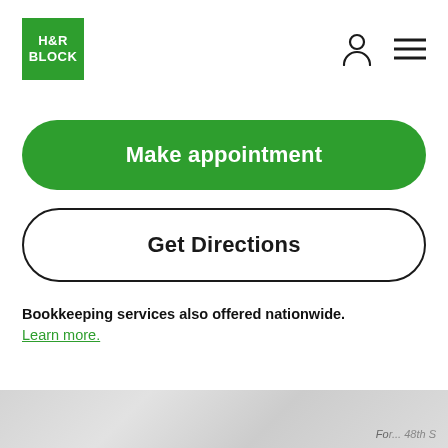[Figure (logo): H&R Block green logo with white text]
Make appointment
Get Directions
Bookkeeping services also offered nationwide. Learn more.